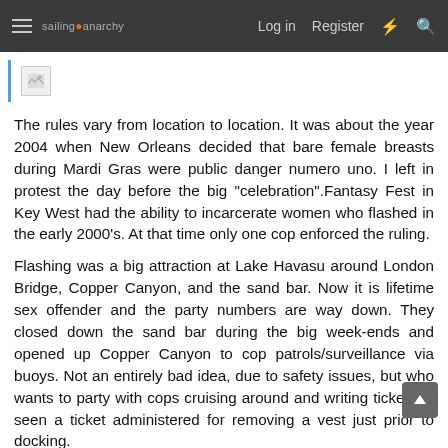sailing anarchy  Log in  Register
[Figure (other): Small broken image placeholder icon]
The rules vary from location to location. It was about the year 2004 when New Orleans decided that bare female breasts during Mardi Gras were public danger numero uno. I left in protest the day before the big "celebration".Fantasy Fest in Key West had the ability to incarcerate women who flashed in the early 2000's. At that time only one cop enforced the ruling.
Flashing was a big attraction at Lake Havasu around London Bridge, Copper Canyon, and the sand bar. Now it is lifetime sex offender and the party numbers are way down. They closed down the sand bar during the big week-ends and opened up Copper Canyon to cop patrols/surveillance via buoys. Not an entirely bad idea, due to safety issues, but who wants to party with cops cruising around and writing tickets? I seen a ticket administered for removing a vest just prior to docking.